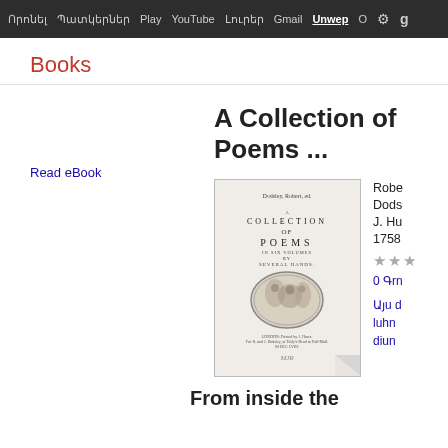Որոնել  Պատկերներ  Play  YouTube  Լուրեր  Gmail  Unwep  O  ⚙
Books
Read eBook
A Collection of Poems ...
[Figure (illustration): Book cover of 'A Collection of Poems in Six Volumes by Several Hands', printed in London, 1758, showing title page with ornamental oval engraving at center]
Robert Dodsley
J. Hughs
1758
★★★
0 Գni
Այu d
nuhn
diun
From inside the